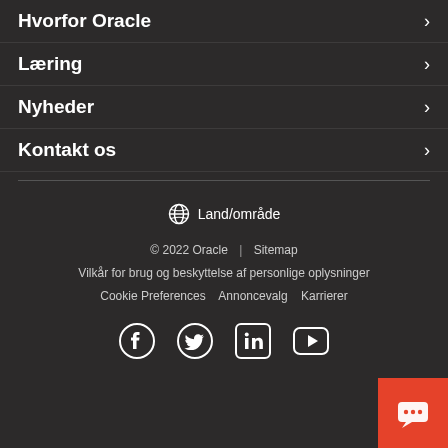Hvorfor Oracle
Læring
Nyheder
Kontakt os
Land/område
© 2022 Oracle | Sitemap
Vilkår for brug og beskyttelse af personlige oplysninger
Cookie Preferences   Annoncevalg   Karrierer
[Figure (illustration): Social media icons: Facebook, Twitter, LinkedIn, YouTube]
[Figure (illustration): Orange chat button in bottom right corner]